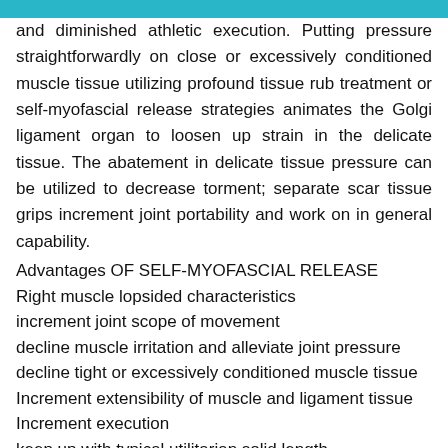and diminished athletic execution. Putting pressure straightforwardly on close or excessively conditioned muscle tissue utilizing profound tissue rub treatment or self-myofascial release strategies animates the Golgi ligament organ to loosen up strain in the delicate tissue. The abatement in delicate tissue pressure can be utilized to decrease torment; separate scar tissue grips increment joint portability and work on in general capability.
Advantages OF SELF-MYOFASCIAL RELEASE
Right muscle lopsided characteristics
increment joint scope of movement
decline muscle irritation and alleviate joint pressure
decline tight or excessively conditioned muscle tissue
Increment extensibility of muscle and ligament tissue
Increment execution
keep up with typical utilitarian solid length
What to do?
Self-myofascial methods are extremely easy to learn.